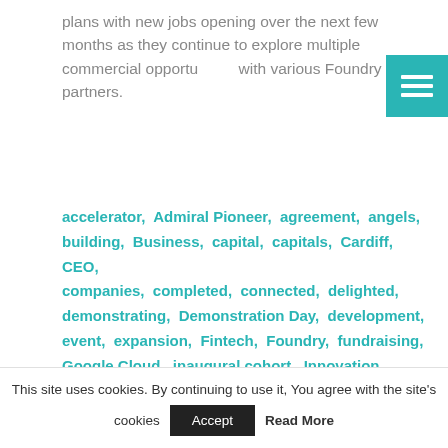plans with new jobs opening over the next few months as they continue to explore multiple commercial opportunities with various Foundry partners.
accelerator, Admiral Pioneer, agreement, angels, building, Business, capital, capitals, Cardiff, CEO, companies, completed, connected, delighted, demonstrating, Demonstration Day, development, event, expansion, Fintech, Foundry, fundraising, Google Cloud, inaugural cohort, Innovation, Laytrip, Open Banking, organisations, partnership, pipeline, plan, plans, Principality, rounds, Sero, ShipShape, society, start-up, start-ups, Tramshed Tech, venture, Viaduct, Voltric, Wagonex, Wales, Yima, Zing Cover, marketing, person
This site uses cookies. By continuing to use it, You agree with the site's cookies
Accept
Read More